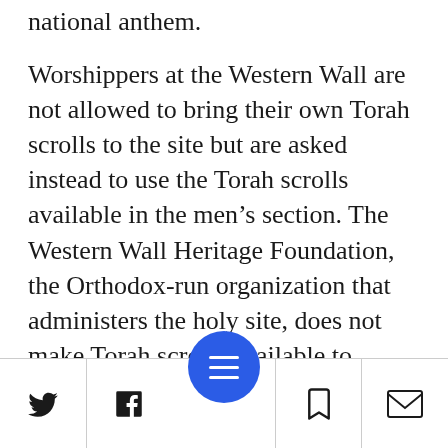national anthem.
Worshippers at the Western Wall are not allowed to bring their own Torah scrolls to the site but are asked instead to use the Torah scrolls available in the men's section. The Western Wall Heritage Foundation, the Orthodox-run organization that administers the holy site, does not make Torah scrolls available to women, however. For this reason, members of the Reform delegation attending the morning service decided to disregard the ban and bring their own Torah scrolls to the Western Wall.